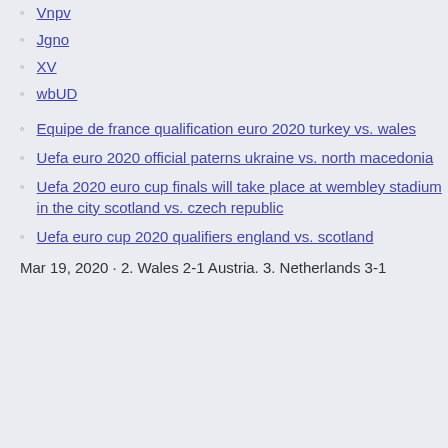Vnpv
Jgno
XV
wbUD
Equipe de france qualification euro 2020 turkey vs. wales
Uefa euro 2020 official paterns ukraine vs. north macedonia
Uefa 2020 euro cup finals will take place at wembley stadium in the city scotland vs. czech republic
Uefa euro cup 2020 qualifiers england vs. scotland
Mar 19, 2020 · 2. Wales 2-1 Austria. 3. Netherlands 3-1